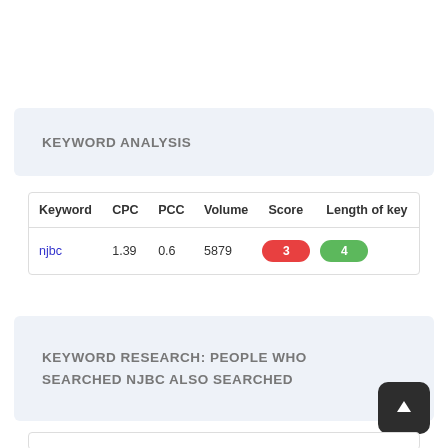KEYWORD ANALYSIS
| Keyword | CPC | PCC | Volume | Score | Length of key |
| --- | --- | --- | --- | --- | --- |
| njbc | 1.39 | 0.6 | 5879 | 3 | 4 |
KEYWORD RESEARCH: PEOPLE WHO SEARCHED NJBC ALSO SEARCHED